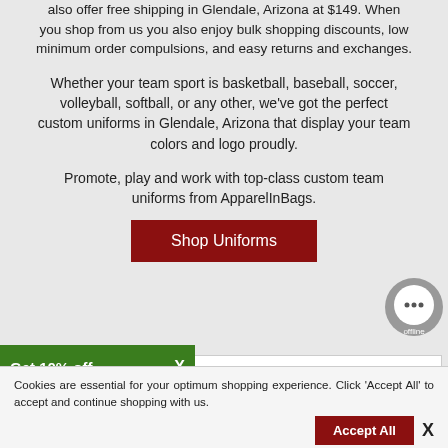also offer free shipping in Glendale, Arizona at $149. When you shop from us you also enjoy bulk shopping discounts, low minimum order compulsions, and easy returns and exchanges.
Whether your team sport is basketball, baseball, soccer, volleyball, softball, or any other, we've got the perfect custom uniforms in Glendale, Arizona that display your team colors and logo proudly.
Promote, play and work with top-class custom team uniforms from ApparelInBags.
Shop Uniforms
Get 10% off  X
We are here to help
Cookies are essential for your optimum shopping experience. Click 'Accept All' to accept and continue shopping with us.
Accept All  X